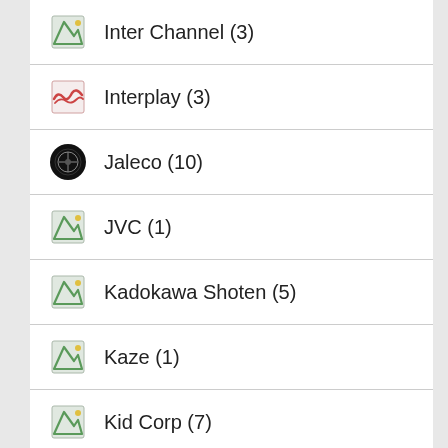Inter Channel (3)
Interplay (3)
Jaleco (10)
JVC (1)
Kadokawa Shoten (5)
Kaze (1)
Kid Corp (7)